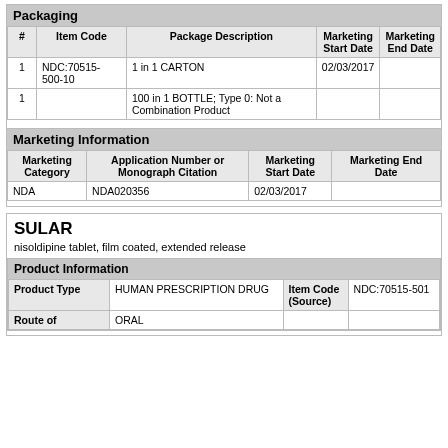| # | Item Code | Package Description | Marketing Start Date | Marketing End Date |
| --- | --- | --- | --- | --- |
| 1 | NDC:70515-500-10 | 1 in 1 CARTON | 02/03/2017 |  |
| 1 |  | 100 in 1 BOTTLE; Type 0: Not a Combination Product |  |  |
| Marketing Category | Application Number or Monograph Citation | Marketing Start Date | Marketing End Date |
| --- | --- | --- | --- |
| NDA | NDA020356 | 02/03/2017 |  |
SULAR
nisoldipine tablet, film coated, extended release
Product Information
| Product Type | HUMAN PRESCRIPTION DRUG | Item Code (Source) | NDC:70515-501 |
| --- | --- | --- | --- |
| Route of | ORAL |  |  |